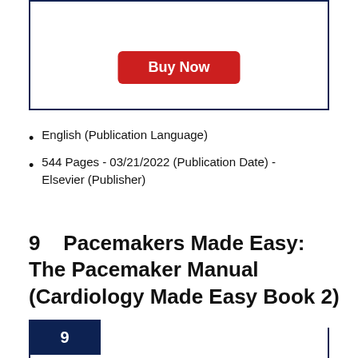[Figure (other): A bordered box containing a Buy Now button in red]
English (Publication Language)
544 Pages - 03/21/2022 (Publication Date) - Elsevier (Publisher)
9    Pacemakers Made Easy: The Pacemaker Manual (Cardiology Made Easy Book 2)
[Figure (other): A bordered box with rank badge showing number 9 in dark blue]